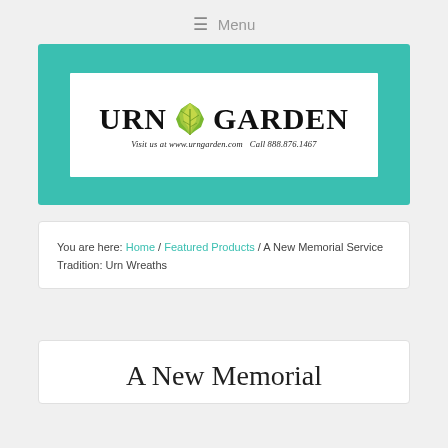≡ Menu
[Figure (logo): Urn Garden logo on teal background. White rectangle with 'URN GARDEN' in large serif bold text with a green maple leaf icon between the words. Subtitle: 'Visit us at www.urngarden.com  Call 888.876.1467']
You are here: Home / Featured Products / A New Memorial Service Tradition: Urn Wreaths
A New Memorial